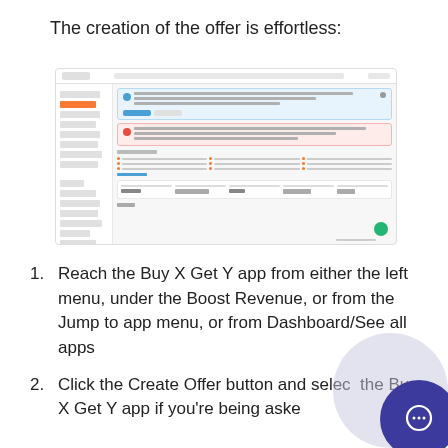The creation of the offer is effortless:
[Figure (screenshot): Screenshot of a web application dashboard showing the Buy X Get Y offer creation interface with a blue notification banner, red warning banner, quick actions grid, and statistics row at the bottom.]
Reach the Buy X Get Y app from either the left menu, under the Boost Revenue, or from the Jump to app menu, or from Dashboard/See all apps
Click the Create Offer button and select the Buy X Get Y app if you're being asked